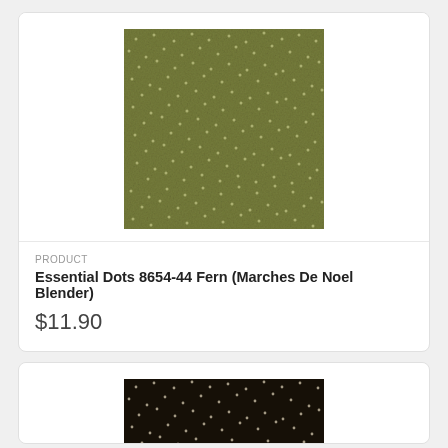[Figure (photo): Olive/fern green fabric with small scattered light-colored dot pattern (Essential Dots 8654-44 Fern)]
PRODUCT
Essential Dots 8654-44 Fern (Marches De Noel Blender)
$11.90
[Figure (photo): Dark brown/black fabric with small scattered light-colored dot pattern (Essential Dots dark colorway)]